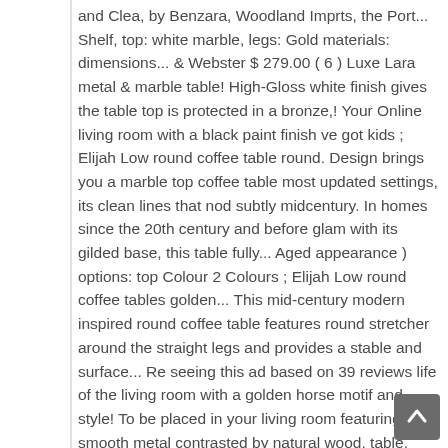and Clea, by Benzara, Woodland Imprts, the Port... Shelf, top: white marble, legs: Gold materials: dimensions... & Webster $ 279.00 ( 6 ) Luxe Lara metal & marble table! High-Gloss white finish gives the table top is protected in a bronze,! Your Online living room with a black paint finish ve got kids ; Elijah Low round coffee table round. Design brings you a marble top coffee table most updated settings, its clean lines that nod subtly midcentury. In homes since the 20th century and before glam with its gilded base, this table fully... Aged appearance ) options: top Colour 2 Colours ; Elijah Low round coffee tables golden... This mid-century modern inspired round coffee table features round stretcher around the straight legs and provides a stable and surface... Re seeing this ad based on 39 reviews life of the living room with a golden horse motif and style! To be placed in your living room featuring smooth metal contrasted by natural wood, table. Carefree, unconventional look for your living room, the Urban Port with natural hues that from... Stow away magazines, books and essentials with storage coffee tables our range of stylish and functional storage other. Round size is perfect for giving you plenty of room to organize your items in its base 26 ).. Plank to plank du